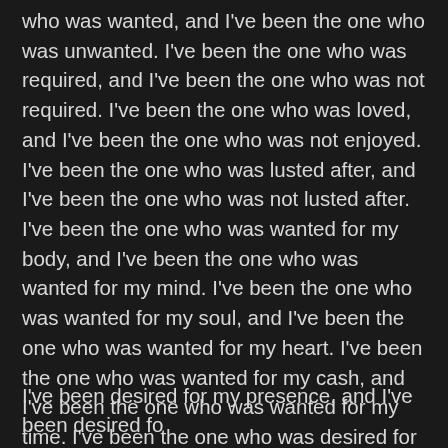who was wanted, and I've been the one who was unwanted. I've been the one who was required, and I've been the one who was not required. I've been the one who was loved, and I've been the one who was not enjoyed. I've been the one who was lusted after, and I've been the one who was not lusted after. I've been the one who was wanted for my body, and I've been the one who was wanted for my mind. I've been the one who was wanted for my soul, and I've been the one who was wanted for my heart. I've been the one who was wanted for my cash, and I've been the one who was wanted for my time. I've been the one who was desired for my company, and I've been the one who was desired for my conversation. I've been the one who was desired for my sex, and I've been the one who was wanted for my love. I've been the one who was desired for my body, and I've been the one who was wanted for my soul.
I've been desired for my presence, and I've been desired fo